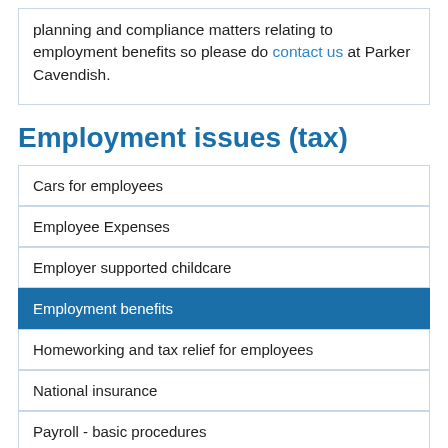planning and compliance matters relating to employment benefits so please do contact us at Parker Cavendish.
Employment issues (tax)
Cars for employees
Employee Expenses
Employer supported childcare
Employment benefits
Homeworking and tax relief for employees
National insurance
Payroll - basic procedures
Payroll Real Time Information